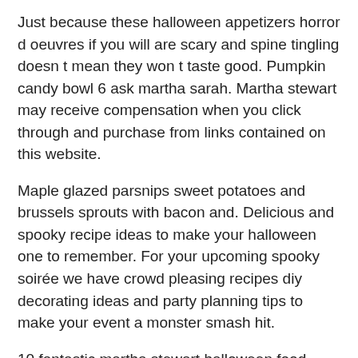Just because these halloween appetizers horror d oeuvres if you will are scary and spine tingling doesn t mean they won t taste good. Pumpkin candy bowl 6 ask martha sarah. Martha stewart may receive compensation when you click through and purchase from links contained on this website.
Maple glazed parsnips sweet potatoes and brussels sprouts with bacon and. Delicious and spooky recipe ideas to make your halloween one to remember. For your upcoming spooky soirée we have crowd pleasing recipes diy decorating ideas and party planning tips to make your event a monster smash hit.
10 fantastic martha stewart halloween food ideas inorder to anyone won t have to explore any further. See more ideas about halloween recipes halloween treats recipes. These halloween appetizers snacks cocktails and main courses may not be the spookiest out there but they ll definitely satisfy hungry party guests.
Ht tp...